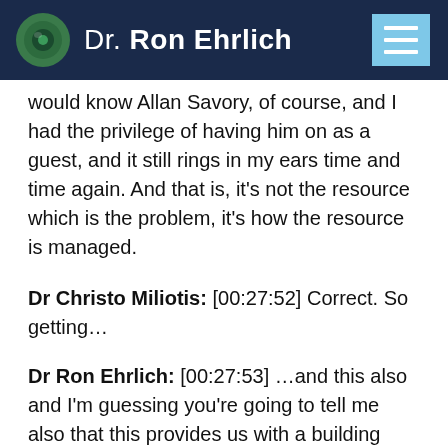Dr. Ron Ehrlich
would know Allan Savory, of course, and I had the privilege of having him on as a guest, and it still rings in my ears time and time again. And that is, it’s not the resource which is the problem, it’s how the resource is managed.
Dr Christo Miliotis: [00:27:52] Correct. So getting…
Dr Ron Ehrlich: [00:27:53] …and this also and I’m guessing you’re going to tell me also that this provides us with a building material?